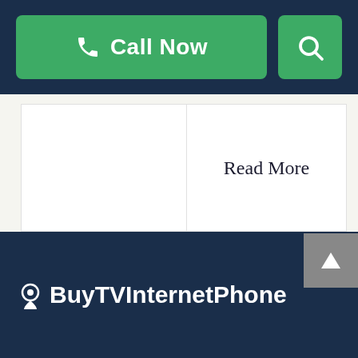Call Now | Search
Read More
[Figure (logo): BuyTVInternetPhone logo with location pin icon in white on dark navy footer background]
BuyTVInternetPhone